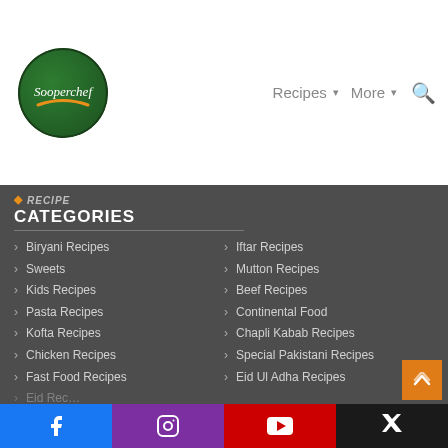[Figure (logo): Sooperchef circular green logo with white italic text]
Recipes ▾  More ▾  🔍
RECIPE CATEGORIES
Biryani Recipes
Sweets
Kids Recipes
Pasta Recipes
Kofta Recipes
Chicken Recipes
Fast Food Recipes
Iftar Recipes
Mutton Recipes
Beef Recipes
Continental Food
Chapli Kabab Recipes
Special Pakistani Recipes
Eid Ul Adha Recipes
Facebook  Instagram  YouTube  TikTok